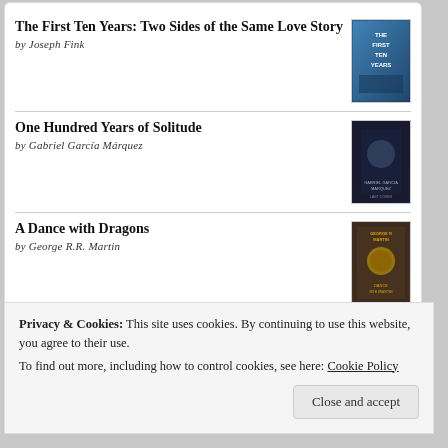The First Ten Years: Two Sides of the Same Love Story
by Joseph Fink
[Figure (illustration): Book cover for 'The First Ten Years' — blue tones with text overlay]
One Hundred Years of Solitude
by Gabriel García Márquez
[Figure (illustration): Book cover for 'One Hundred Years of Solitude' — dark tones]
A Dance with Dragons
by George R.R. Martin
[Figure (illustration): Book cover for 'A Dance with Dragons' by George R.R. Martin — gold and dark tones]
[Figure (logo): goodreads button/logo with rounded border]
Privacy & Cookies: This site uses cookies. By continuing to use this website, you agree to their use.
To find out more, including how to control cookies, see here: Cookie Policy
Close and accept